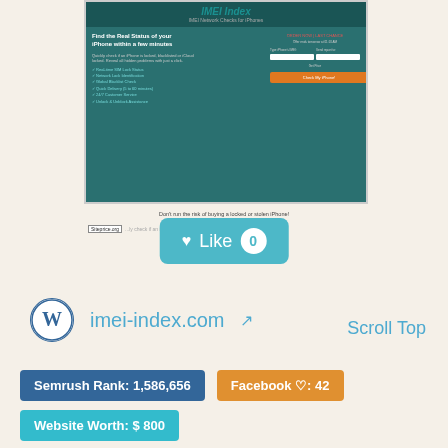[Figure (screenshot): Screenshot of imei-index.com website showing iPhone IMEI check service with teal background, a form to check iPhone status, and orange CTA button]
Don't run the risk of buying a locked or stolen iPhone!
Siteprice.org  ...ly check if an iPhone is leased, lost, stolen, blacklisted...
♥ Like  0
imei-index.com
Scroll Top
Semrush Rank: 1,586,656
Facebook ♡: 42
Website Worth: $ 800
Categories: Internet Services, Information Technology